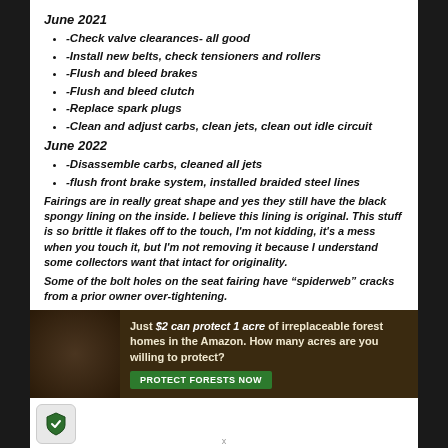June 2021
-Check valve clearances- all good
-Install new belts, check tensioners and rollers
-Flush and bleed brakes
-Flush and bleed clutch
-Replace spark plugs
-Clean and adjust carbs, clean jets, clean out idle circuit
June 2022
-Disassemble carbs, cleaned all jets
-flush front brake system, installed braided steel lines
Fairings are in really great shape and yes they still have the black spongy lining on the inside. I believe this lining is original. This stuff is so brittle it flakes off to the touch, I'm not kidding, it's a mess when you touch it, but I'm not removing it because I understand some collectors want that intact for originality.
Some of the bolt holes on the seat fairing have “spiderweb” cracks from a prior owner over-tightening.
[Figure (infographic): Advertisement banner: dark forest background with animal image on left, text reading 'Just $2 can protect 1 acre of irreplaceable forest homes in the Amazon. How many acres are you willing to protect?' with green PROTECT FORESTS NOW button]